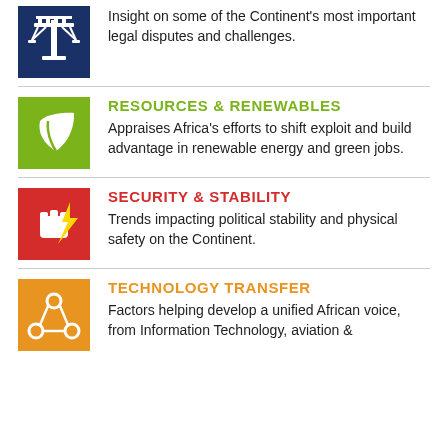Insight on some of the Continent’s most important legal disputes and challenges.
RESOURCES & RENEWABLES
Appraises Africa’s efforts to shift exploit and build advantage in renewable energy and green jobs.
SECURITY & STABILITY
Trends impacting political stability and physical safety on the Continent.
TECHNOLOGY TRANSFER
Factors helping develop a unified African voice, from Information Technology, aviation &